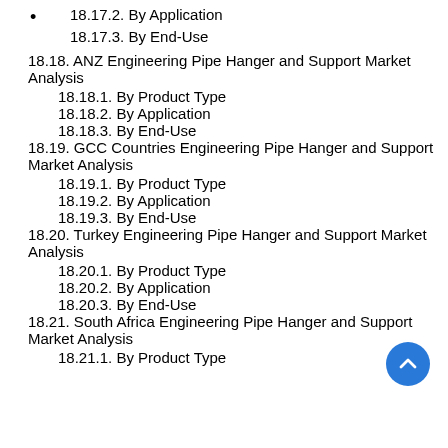18.17.2. By Application
18.17.3. By End-Use
18.18. ANZ Engineering Pipe Hanger and Support Market Analysis
18.18.1. By Product Type
18.18.2. By Application
18.18.3. By End-Use
18.19. GCC Countries Engineering Pipe Hanger and Support Market Analysis
18.19.1. By Product Type
18.19.2. By Application
18.19.3. By End-Use
18.20. Turkey Engineering Pipe Hanger and Support Market Analysis
18.20.1. By Product Type
18.20.2. By Application
18.20.3. By End-Use
18.21. South Africa Engineering Pipe Hanger and Support Market Analysis
18.21.1. By Product Type